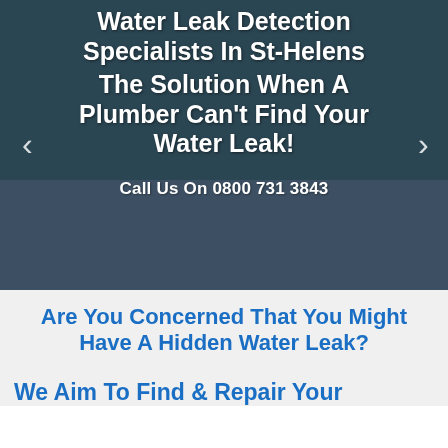[Figure (photo): Hero banner image showing a water leak detection specialist in a high-visibility vest working outdoors, with overlaid text and navigation arrows. Background shows a street scene with trees and vehicles.]
Water Leak Detection Specialists In St-Helens The Solution When A Plumber Can't Find Your Water Leak!
Call Us On 0800 731 3843
Are You Concerned That You Might Have A Hidden Water Leak?
We Aim To Find & Repair Your